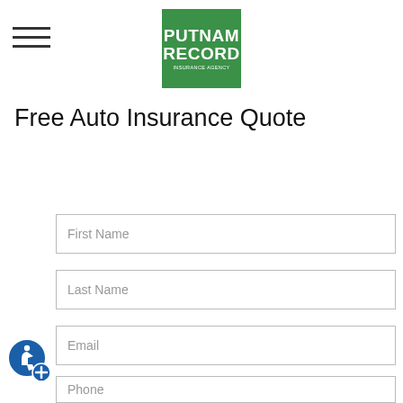[Figure (logo): Putnam Record Insurance Agency logo — green square with white bold text PUTNAM RECORD and smaller text INSURANCE AGENCY]
Free Auto Insurance Quote
First Name
Last Name
Email
Phone